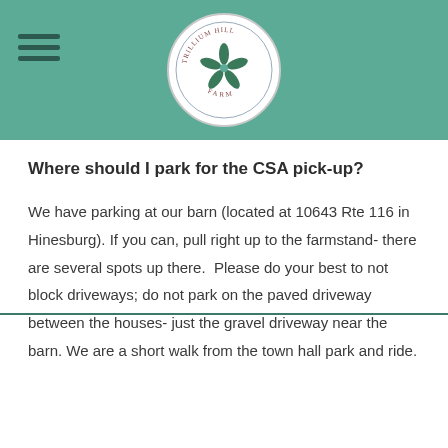[Figure (logo): Trillium Hill Farm circular logo with stylized flower/trillium design and text around the border]
Where should I park for the CSA pick-up?
We have parking at our barn (located at 10643 Rte 116 in Hinesburg). If you can, pull right up to the farmstand- there are several spots up there.  Please do your best to not block driveways; do not park on the paved driveway between the houses- just the gravel driveway near the barn. We are a short walk from the town hall park and ride.